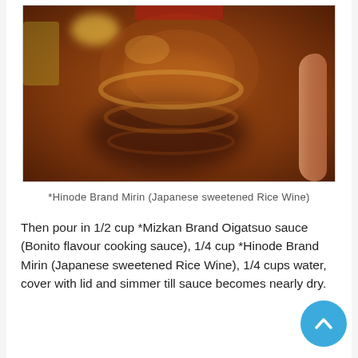[Figure (photo): Close-up photo of a hand holding a bottle of Hinode Brand Mirin (Japanese sweetened Rice Wine), showing the amber-colored liquid inside the glass bottle]
*Hinode Brand Mirin (Japanese sweetened Rice Wine)
Then pour in 1/2 cup *Mizkan Brand Oigatsuo sauce (Bonito flavour cooking sauce), 1/4 cup *Hinode Brand Mirin (Japanese sweetened Rice Wine), 1/4 cups water, cover with lid and simmer till sauce becomes nearly dry.